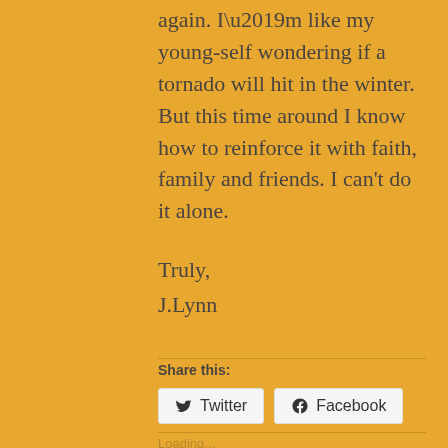again. I’m like my young-self wondering if a tornado will hit in the winter. But this time around I know how to reinforce it with faith, family and friends. I can’t do it alone.
Truly,
J.Lynn
Share this:
Twitter
Facebook
Loading...